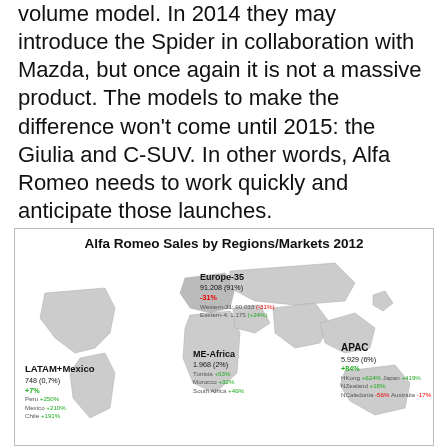volume model. In 2014 they may introduce the Spider in collaboration with Mazda, but once again it is not a massive product. The models to make the difference won't come until 2015: the Giulia and C-SUV. In other words, Alfa Romeo needs to work quickly and anticipate those launches.
[Figure (map): World map infographic showing Alfa Romeo regional sales for 2012. Europe-35: 91,208 (91%), -31%, Western-31: 90,033 (-31%), Eastern-4: 1,175 (+24%). ME-Africa: 1,968 (2%), Tunisia +53%, Morocco +32%, South Africa +46%. LATAM+Mexico: 748 (0.7%), +7%, Peru +250%, Mexico +210%, Chile +191%. APAC: 5,929 (6%), +84%, HKong +624%, Japan +419%, NZealand +18%, NCaledonia -56%, Australia -17%.]